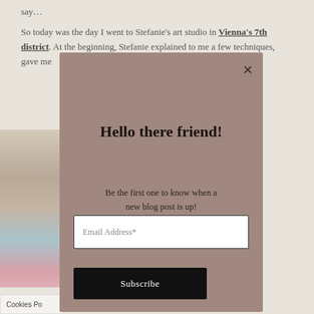say…
So today was the day I went to Stefanie's art studio in Vienna's 7th district. At the beginning, Stefanie explained to me a few techniques, gave me
[Figure (photo): Photo of art studio materials including bowls and ceramic items]
Hello there friend!
Be the first one to know when a new blog post is up!
Email Address*
Subscribe
Cookies Po